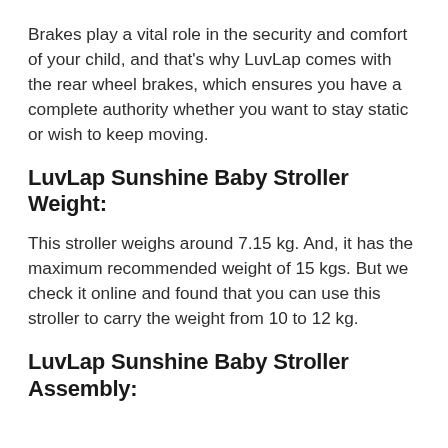Brakes play a vital role in the security and comfort of your child, and that's why LuvLap comes with the rear wheel brakes, which ensures you have a complete authority whether you want to stay static or wish to keep moving.
LuvLap Sunshine Baby Stroller Weight:
This stroller weighs around 7.15 kg. And, it has the maximum recommended weight of 15 kgs. But we check it online and found that you can use this stroller to carry the weight from 10 to 12 kg.
LuvLap Sunshine Baby Stroller Assembly: